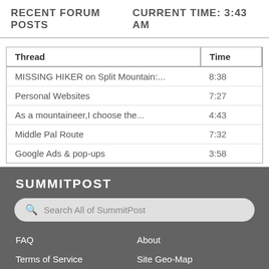RECENT FORUM POSTS    CURRENT TIME: 3:43 AM
| Thread | Time |
| --- | --- |
| MISSING HIKER on Split Mountain:... | 8:38 |
| Personal Websites | 7:27 |
| As a mountaineer,I choose the... | 4:43 |
| Middle Pal Route | 7:32 |
| Google Ads & pop-ups | 3:58 |
SUMMITPOST
Search All of SummitPost
FAQ
About
Terms of Service
Site Geo-Map
Contact
TELL OTHERS ABOUT SP!
[Figure (illustration): Social media share buttons: Google+, Facebook, Twitter]